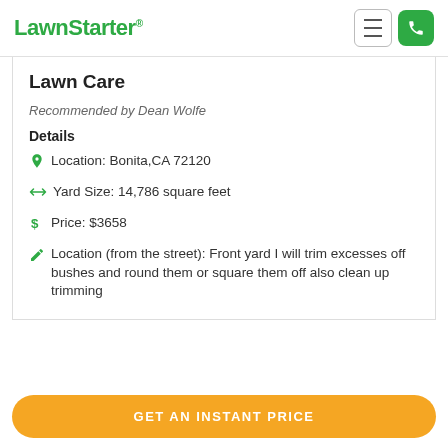LawnStarter
Lawn Care
Recommended by Dean Wolfe
Details
Location: Bonita,CA 72120
Yard Size: 14,786 square feet
Price: $3658
Location (from the street): Front yard I will trim excesses off bushes and round them or square them off also clean up trimming
GET AN INSTANT PRICE